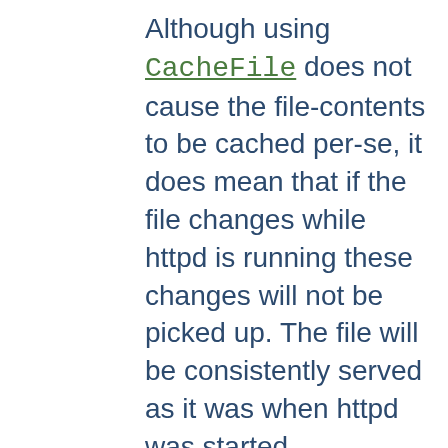Although using CacheFile does not cause the file-contents to be cached per-se, it does mean that if the file changes while httpd is running these changes will not be picked up. The file will be consistently served as it was when httpd was started.
If the file is removed while httpd is running, it will continue to maintain an open file descriptor and serve the file as it was when httpd was started. This usually also means that although the file will have been deleted, and not show up on the filesystem, extra free space will not be recovered until httpd is